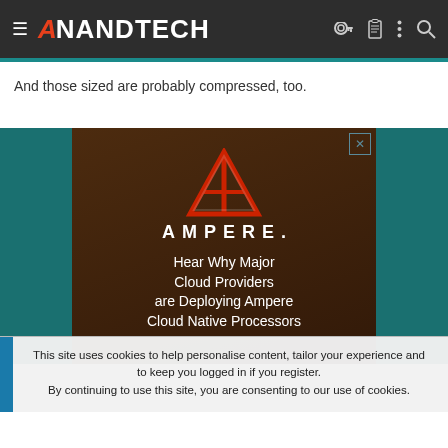AnandTech
And those sized are probably compressed, too.
[Figure (illustration): Ampere advertisement banner showing the Ampere logo (red A triangle) and text 'AMPERE.' followed by 'Hear Why Major Cloud Providers are Deploying Ampere Cloud Native Processors' on a dark brown/server room background, with teal sidebar.]
This site uses cookies to help personalise content, tailor your experience and to keep you logged in if you register.
By continuing to use this site, you are consenting to our use of cookies.